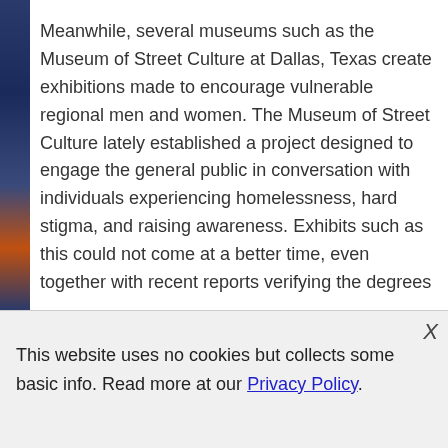Meanwhile, several museums such as the Museum of Street Culture at Dallas, Texas create exhibitions made to encourage vulnerable regional men and women. The Museum of Street Culture lately established a project designed to engage the general public in conversation with individuals experiencing homelessness, hard stigma, and raising awareness. Exhibits such as this could not come at a better time, even together with recent reports verifying the degrees
This website uses no cookies but collects some basic info. Read more at our Privacy Policy.